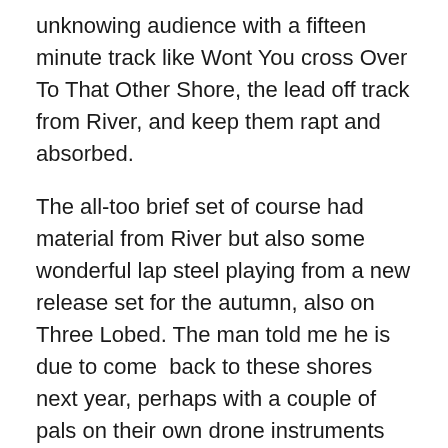unknowing audience with a fifteen minute track like Wont You cross Over To That Other Shore, the lead off track from River, and keep them rapt and absorbed.
The all-too brief set of course had material from River but also some wonderful lap steel playing from a new release set for the autumn, also on Three Lobed. The man told me he is due to come  back to these shores next year, perhaps with a couple of pals on their own drone instruments for a set of them  together and Bachman playing solo – as and when they set the dates, you would be a fool not to strike out and see him and his captivating playing. Matt Roberts at The Convent, I hope you are listening and find this fine chap a slot in your schedule – its hard to think of a finer pairing than this exultant music in that most remarkable of settings.